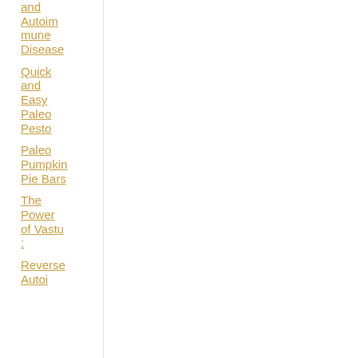and Autoimmune Disease
Quick and Easy Paleo Pesto
Paleo Pumpkin Pie Bars
The Power of Vastu :
Reverse Autoim...